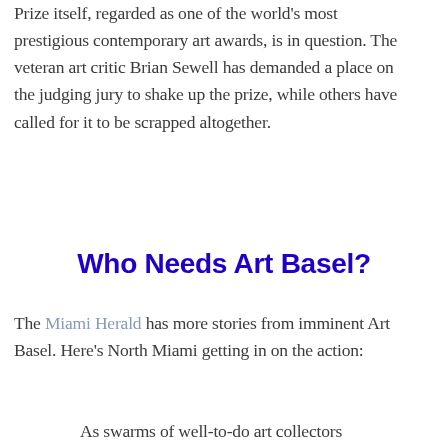Prize itself, regarded as one of the world's most prestigious contemporary art awards, is in question. The veteran art critic Brian Sewell has demanded a place on the judging jury to shake up the prize, while others have called for it to be scrapped altogether.
Who Needs Art Basel?
The Miami Herald has more stories from imminent Art Basel. Here's North Miami getting in on the action:
As swarms of well-to-do art collectors